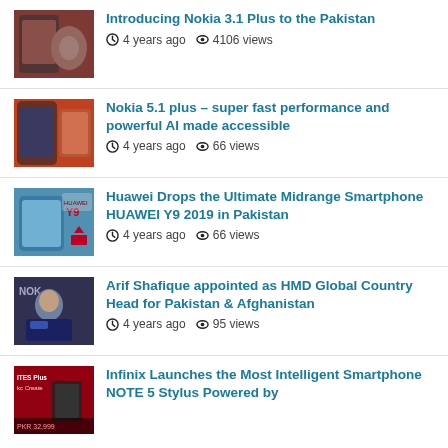Introducing Nokia 3.1 Plus to the Pakistan | 4 years ago | 4106 views
Nokia 5.1 plus – super fast performance and powerful AI made accessible | 4 years ago | 66 views
Huawei Drops the Ultimate Midrange Smartphone HUAWEI Y9 2019 in Pakistan | 4 years ago | 66 views
Arif Shafique appointed as HMD Global Country Head for Pakistan & Afghanistan | 4 years ago | 95 views
Infinix Launches the Most Intelligent Smartphone NOTE 5 Stylus Powered by